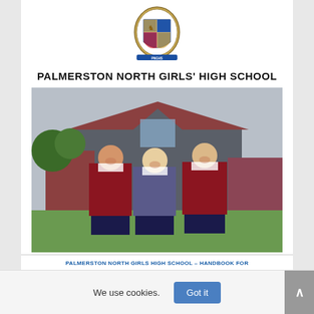[Figure (logo): Palmerston North Girls' High School crest/coat of arms with shield design in blue, gold and red with a lion figure]
PALMERSTON NORTH GIRLS' HIGH SCHOOL
[Figure (photo): Three female students in school uniform (navy dress/skirt with red cardigan and white collar) walking and smiling in front of school building]
PALMERSTON NORTH GIRLS HIGH SCHOOL – HANDBOOK FOR